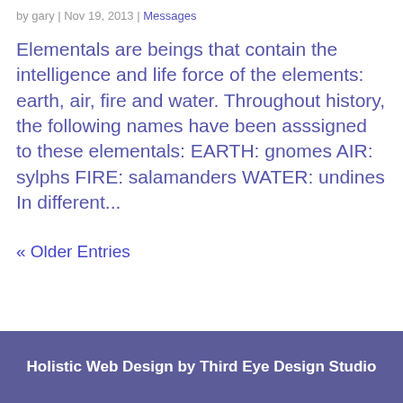by gary | Nov 19, 2013 | Messages
Elementals are beings that contain the intelligence and life force of the elements: earth, air, fire and water. Throughout history, the following names have been asssigned to these elementals: EARTH: gnomes AIR: sylphs FIRE: salamanders WATER: undines In different...
« Older Entries
Holistic Web Design by Third Eye Design Studio